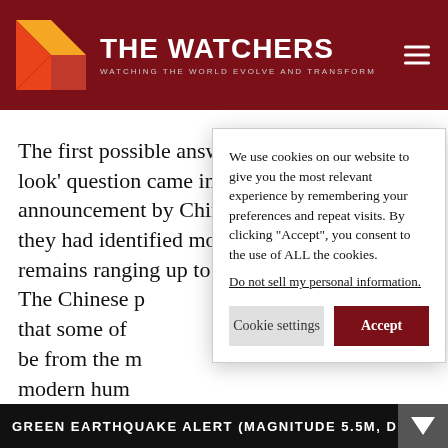THE WATCHERS — WATCHING THE WORLD EVOLVE AND TRANSFORM
The first possible answer to this ‘where to look’ question came in the form of an announcement by Chinese scientists claiming they had identified modern human fossil remains ranging up to [130,000 years in age, as well as] fossils from [other sites]. The Chinese [paper suggested] that some of [the remains] be from the [migration of early] modern hum[ans into] East Asia? It [could] might be the [answer]
We use cookies on our website to give you the most relevant experience by remembering your preferences and repeat visits. By clicking “Accept”, you consent to the use of ALL the cookies.
Do not sell my personal information.
GREEN EARTHQUAKE ALERT (MAGNITUDE 5.5M, DEPTH